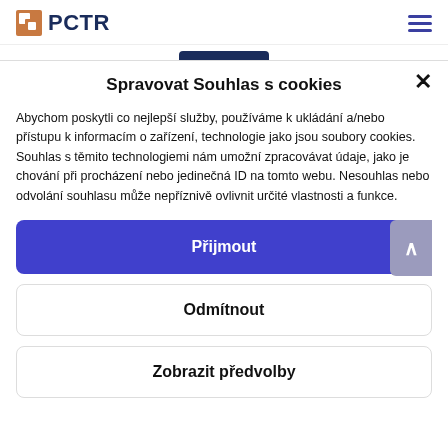PCTR
Spravovat Souhlas s cookies
Abychom poskytli co nejlepší služby, používáme k ukládání a/nebo přístupu k informacím o zařízení, technologie jako jsou soubory cookies. Souhlas s těmito technologiemi nám umožní zpracovávat údaje, jako je chování při procházení nebo jedinečná ID na tomto webu. Nesouhlas nebo odvolání souhlasu může nepříznivě ovlivnit určité vlastnosti a funkce.
Přijmout
Odmítnout
Zobrazit předvolby